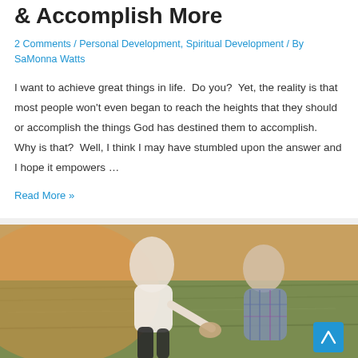& Accomplish More
2 Comments / Personal Development, Spiritual Development / By SaMonna Watts
I want to achieve great things in life.  Do you?  Yet, the reality is that most people won't even began to reach the heights that they should or accomplish the things God has destined them to accomplish.  Why is that?  Well, I think I may have stumbled upon the answer and I hope it empowers …
Read More »
[Figure (photo): Two people holding hands running through a field, photographed at golden hour. One person wearing a white top and dark pants, the other wearing a plaid shirt.]